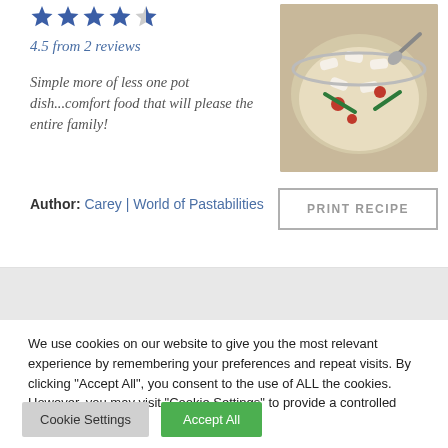[Figure (other): Five blue star rating icons]
4.5 from 2 reviews
Simple more of less one pot dish...comfort food that will please the entire family!
Author: Carey | World of Pastabilities
[Figure (photo): Photo of a pasta dish with vegetables in a bowl]
PRINT RECIPE
We use cookies on our website to give you the most relevant experience by remembering your preferences and repeat visits. By clicking "Accept All", you consent to the use of ALL the cookies. However, you may visit "Cookie Settings" to provide a controlled consent.
Cookie Settings
Accept All